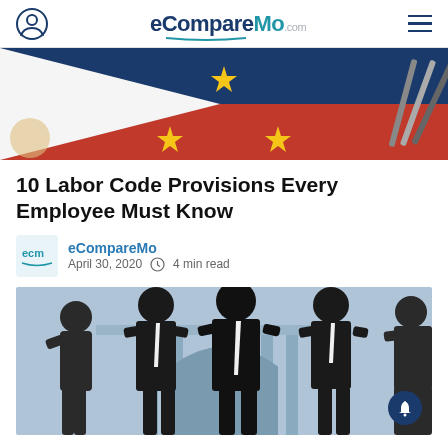eCompareMo.com
[Figure (photo): Philippine flag with blue, red, white sections and three gold stars, partially visible]
10 Labor Code Provisions Every Employee Must Know
eCompareMo  April 30, 2020  4 min read
[Figure (photo): Silhouettes of business professionals in suits standing in front of a classical building with blue tinted overlay]
Past Bar Exam Topnotchers And Where They Are